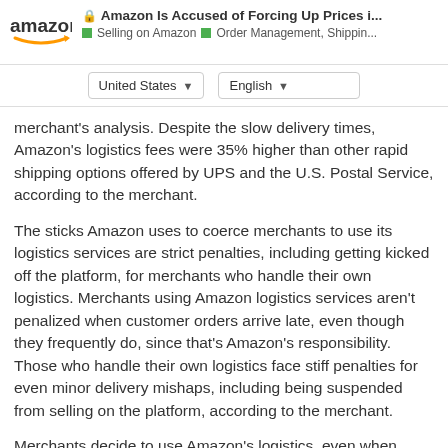Amazon Is Accused of Forcing Up Prices i... | Selling on Amazon | Order Management, Shippi...
United States
English
merchant's analysis. Despite the slow delivery times, Amazon's logistics fees were 35% higher than other rapid shipping options offered by UPS and the U.S. Postal Service, according to the merchant.
The sticks Amazon uses to coerce merchants to use its logistics services are strict penalties, including getting kicked off the platform, for merchants who handle their own logistics. Merchants using Amazon logistics services aren't penalized when customer orders arrive late, even though they frequently do, since that's Amazon's responsibility. Those who handle their own logistics face stiff penalties for even minor delivery mishaps, including being suspended from selling on the platform, according to the merchant.
Merchants decide to use Amazon's logistics, even when more affordable options are available, them from being kicked off the platform.